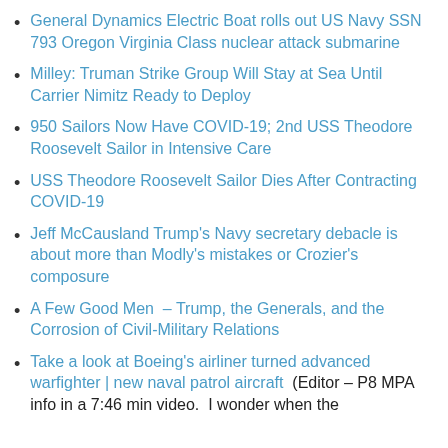General Dynamics Electric Boat rolls out US Navy SSN 793 Oregon Virginia Class nuclear attack submarine
Milley: Truman Strike Group Will Stay at Sea Until Carrier Nimitz Ready to Deploy
950 Sailors Now Have COVID-19; 2nd USS Theodore Roosevelt Sailor in Intensive Care
USS Theodore Roosevelt Sailor Dies After Contracting COVID-19
Jeff McCausland Trump's Navy secretary debacle is about more than Modly's mistakes or Crozier's composure
A Few Good Men  – Trump, the Generals, and the Corrosion of Civil-Military Relations
Take a look at Boeing's airliner turned advanced warfighter | new naval patrol aircraft  (Editor – P8 MPA info in a 7:46 min video.  I wonder when the